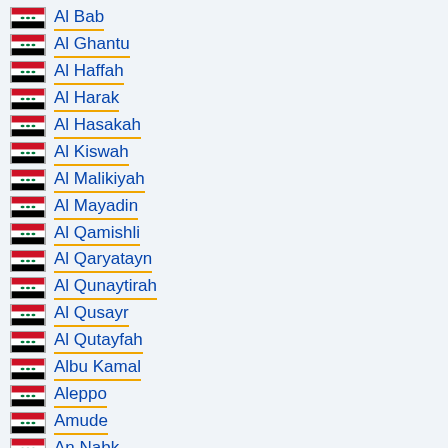Al Bab
Al Ghantu
Al Haffah
Al Harak
Al Hasakah
Al Kiswah
Al Malikiyah
Al Mayadin
Al Qamishli
Al Qaryatayn
Al Qunaytirah
Al Qusayr
Al Qutayfah
Albu Kamal
Aleppo
Amude
An Nabk
Ar Rastan